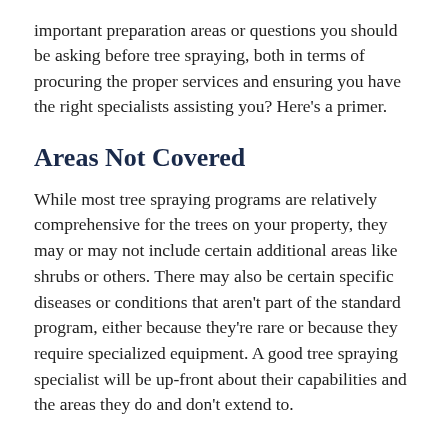important preparation areas or questions you should be asking before tree spraying, both in terms of procuring the proper services and ensuring you have the right specialists assisting you? Here's a primer.
Areas Not Covered
While most tree spraying programs are relatively comprehensive for the trees on your property, they may or may not include certain additional areas like shrubs or others. There may also be certain specific diseases or conditions that aren't part of the standard program, either because they're rare or because they require specialized equipment. A good tree spraying specialist will be up-front about their capabilities and the areas they do and don't extend to.
Recommendations Given